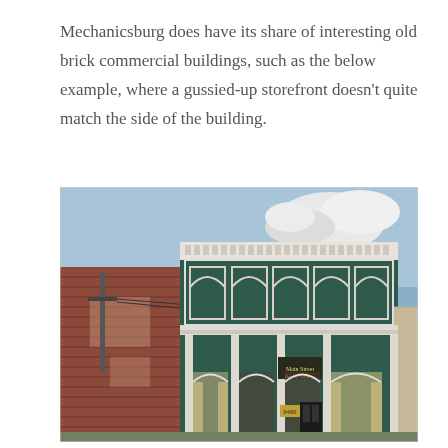Mechanicsburg does have its share of interesting old brick commercial buildings, such as the below example, where a gussied-up storefront doesn't quite match the side of the building.
[Figure (photo): Photograph of an old brick commercial building in Mechanicsburg. The front facade is painted dark green with white ornamental trim, featuring decorative arched panels on the upper story and arched windows on the ground floor with curtains visible. A sign reading 'Main Street Beauty Lounge' is visible. The side of the building shows exposed weathered red brick that contrasts with the renovated storefront. A utility pole is visible to the left, and a lighter-colored building is partially visible to the right. The sky in the background is blue with white clouds.]